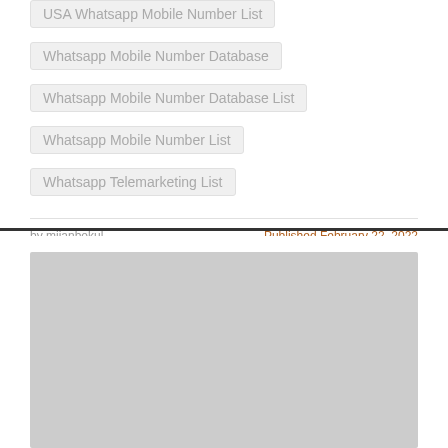USA Whatsapp Mobile Number List
Whatsapp Mobile Number Database
Whatsapp Mobile Number Database List
Whatsapp Mobile Number List
Whatsapp Telemarketing List
by mijanbokul
Published February 22, 2022
[Figure (other): Gray placeholder advertisement or image block]